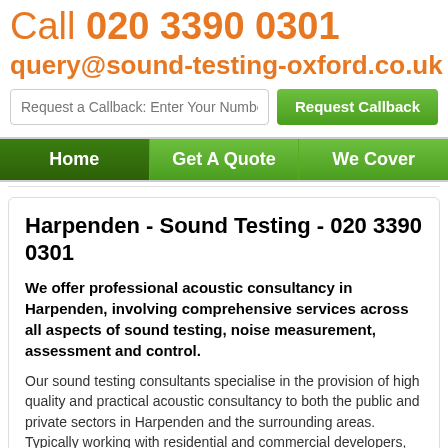Call 020 3390 0301
query@sound-testing-oxford.co.uk
Request a Callback: Enter Your Number | Request Callback
Home | Get A Quote | We Cover
Harpenden - Sound Testing - 020 3390 0301
We offer professional acoustic consultancy in Harpenden, involving comprehensive services across all aspects of sound testing, noise measurement, assessment and control.
Our sound testing consultants specialise in the provision of high quality and practical acoustic consultancy to both the public and private sectors in Harpenden and the surrounding areas. Typically working with residential and commercial developers, architects, local planning authorities and environmental services.
Having been involved in building and architectural projects at all stages of development, from the specification of the external building